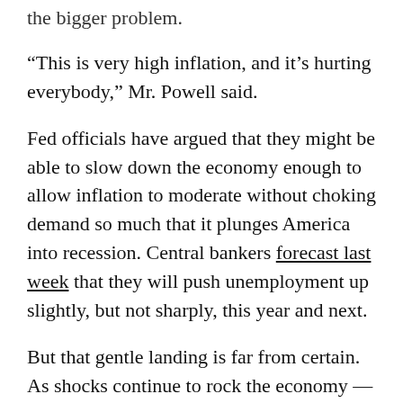the bigger problem.
“This is very high inflation, and it’s hurting everybody,” Mr. Powell said.
Fed officials have argued that they might be able to slow down the economy enough to allow inflation to moderate without choking demand so much that it plunges America into recession. Central bankers forecast last week that they will push unemployment up slightly, but not sharply, this year and next.
But that gentle landing is far from certain. As shocks continue to rock the economy — the war in Ukraine has pushed up food and fuel costs, Chinese lockdowns to contain the pandemic have